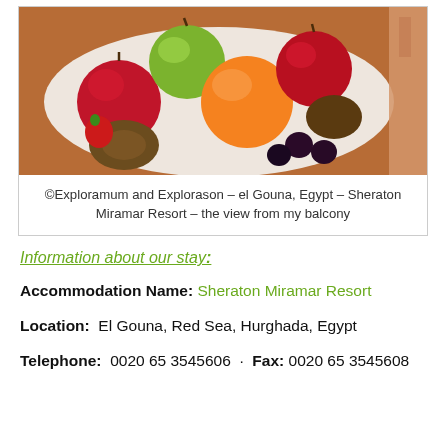[Figure (photo): A photo of a bowl of mixed fruits including red apples, green apples, an orange, kiwi fruits, strawberries, and dark berries/plums arranged on a white surface with a wooden background.]
©Exploramum and Explorason – el Gouna, Egypt – Sheraton Miramar Resort – the view from my balcony
Information about our stay:
Accommodation Name: Sheraton Miramar Resort
Location:  El Gouna, Red Sea, Hurghada, Egypt
Telephone:  0020 65 3545606  · Fax:  0020 65 3545608